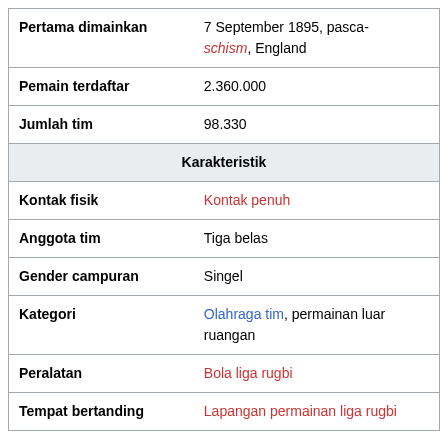| Pertama dimainkan | 7 September 1895, pasca-schism, England |
| Pemain terdaftar | 2.360.000 |
| Jumlah tim | 98.330 |
| Karakteristik |  |
| Kontak fisik | Kontak penuh |
| Anggota tim | Tiga belas |
| Gender campuran | Singel |
| Kategori | Olahraga tim, permainan luar ruangan |
| Peralatan | Bola liga rugbi |
| Tempat bertanding | Lapangan permainan liga rugbi |